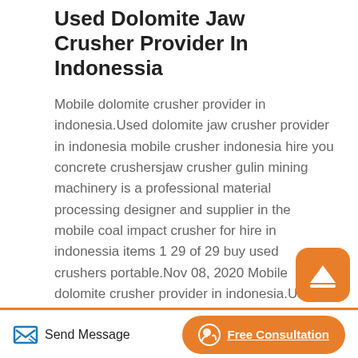Used Dolomite Jaw Crusher Provider In Indonessia
Mobile dolomite crusher provider in indonesia.Used dolomite jaw crusher provider in indonesia mobile crusher indonesia hire you concrete crushersjaw crusher gulin mining machinery is a professional material processing designer and supplier in the mobile coal impact crusher for hire in indonessia items 1 29 of 29 buy used crushers portable.Nov 08, 2020 Mobile dolomite crusher provider in indonesia.Used dolomite jaw crusher provider in indonesia mobile crusher indonesia hire you concrete crushersjaw crusher gulin mining machinery is
Send Message   Free Consultation